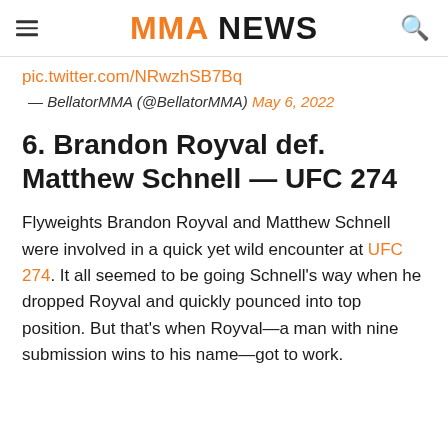MMA NEWS
pic.twitter.com/NRwzhSB7Bq
— BellatorMMA (@BellatorMMA) May 6, 2022
6. Brandon Royval def. Matthew Schnell — UFC 274
Flyweights Brandon Royval and Matthew Schnell were involved in a quick yet wild encounter at UFC 274. It all seemed to be going Schnell's way when he dropped Royval and quickly pounced into top position. But that's when Royval—a man with nine submission wins to his name—got to work.